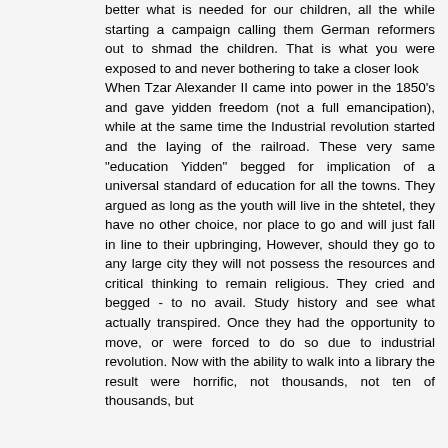better what is needed for our children, all the while starting a campaign calling them German reformers out to shmad the children. That is what you were exposed to and never bothering to take a closer look When Tzar Alexander II came into power in the 1850's and gave yidden freedom (not a full emancipation), while at the same time the Industrial revolution started and the laying of the railroad. These very same "education Yidden" begged for implication of a universal standard of education for all the towns. They argued as long as the youth will live in the shtetel, they have no other choice, nor place to go and will just fall in line to their upbringing, However, should they go to any large city they will not possess the resources and critical thinking to remain religious. They cried and begged - to no avail. Study history and see what actually transpired. Once they had the opportunity to move, or were forced to do so due to industrial revolution. Now with the ability to walk into a library the result were horrific, not thousands, not ten of thousands, but